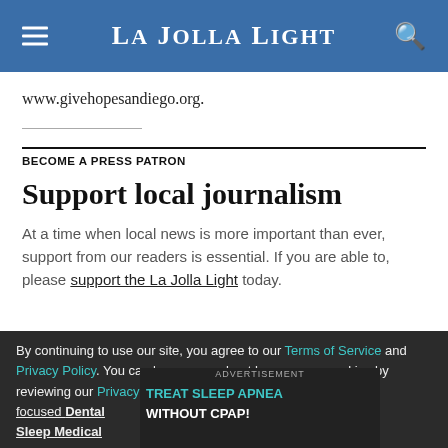La Jolla Light
www.givehopesandiego.org.
BECOME A PRESS PATRON
Support local journalism
At a time when local news is more important than ever, support from our readers is essential. If you are able to, please support the La Jolla Light today.
By continuing to use our site, you agree to our Terms of Service and Privacy Policy. You can learn more about how we use cookies by reviewing our Privacy Policy. Close